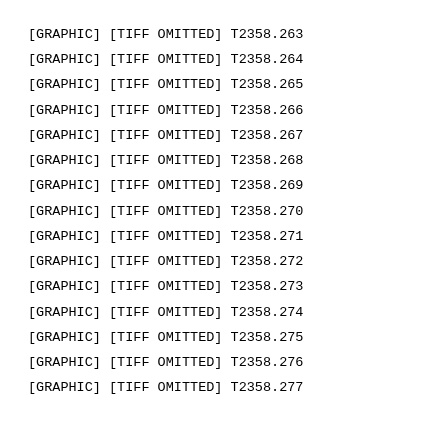[GRAPHIC] [TIFF OMITTED] T2358.263
[GRAPHIC] [TIFF OMITTED] T2358.264
[GRAPHIC] [TIFF OMITTED] T2358.265
[GRAPHIC] [TIFF OMITTED] T2358.266
[GRAPHIC] [TIFF OMITTED] T2358.267
[GRAPHIC] [TIFF OMITTED] T2358.268
[GRAPHIC] [TIFF OMITTED] T2358.269
[GRAPHIC] [TIFF OMITTED] T2358.270
[GRAPHIC] [TIFF OMITTED] T2358.271
[GRAPHIC] [TIFF OMITTED] T2358.272
[GRAPHIC] [TIFF OMITTED] T2358.273
[GRAPHIC] [TIFF OMITTED] T2358.274
[GRAPHIC] [TIFF OMITTED] T2358.275
[GRAPHIC] [TIFF OMITTED] T2358.276
[GRAPHIC] [TIFF OMITTED] T2358.277